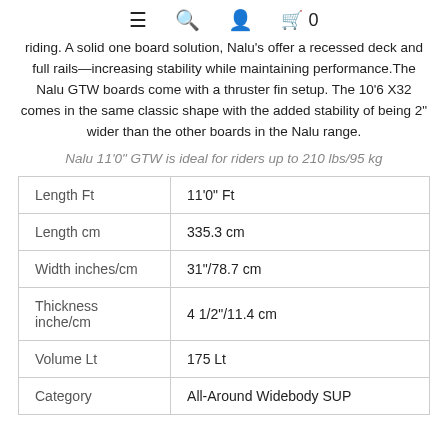☰ 🔍 👤 🛒 0
riding. A solid one board solution, Nalu's offer a recessed deck and full rails—increasing stability while maintaining performance. The Nalu GTW boards come with a thruster fin setup. The 10'6 X32 comes in the same classic shape with the added stability of being 2" wider than the other boards in the Nalu range.
Nalu 11'0" GTW is ideal for riders up to 210 lbs/95 kg
| Length Ft | 11'0" Ft |
| Length cm | 335.3 cm |
| Width inches/cm | 31"/78.7 cm |
| Thickness inche/cm | 4 1/2"/11.4 cm |
| Volume Lt | 175 Lt |
| Category | All-Around Widebody SUP |